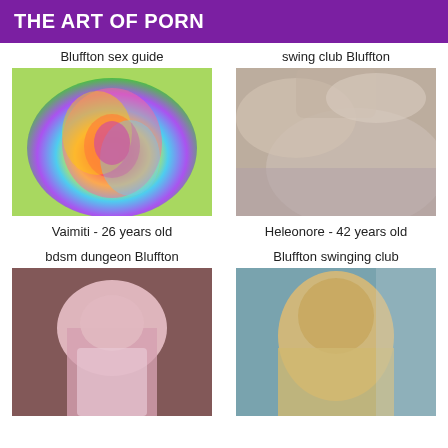THE ART OF PORN
Bluffton sex guide
[Figure (photo): Colorful artistic rose illustration with stained-glass style rainbow colors]
Vaimiti - 26 years old
swing club Bluffton
[Figure (photo): Close-up nude photo]
Heleonore - 42 years old
bdsm dungeon Bluffton
[Figure (photo): Woman in pink dress]
Bluffton swinging club
[Figure (photo): Blonde woman selfie]